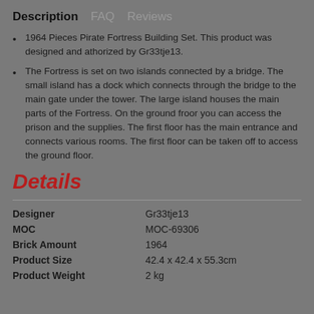Description  FAQ  Reviews
1964 Pieces Pirate Fortress Building Set. This product was designed and athorized by Gr33tje13.
The Fortress is set on two islands connected by a bridge. The small island has a dock which connects through the bridge to the main gate under the tower. The large island houses the main parts of the Fortress. On the ground froor you can access the prison and the supplies. The first floor has the main entrance and connects various rooms. The first floor can be taken off to access the ground floor.
Details
|  |  |
| --- | --- |
| Designer | Gr33tje13 |
| MOC | MOC-69306 |
| Brick Amount | 1964 |
| Product Size | 42.4 x 42.4 x 55.3cm |
| Product Weight | 2 kg |